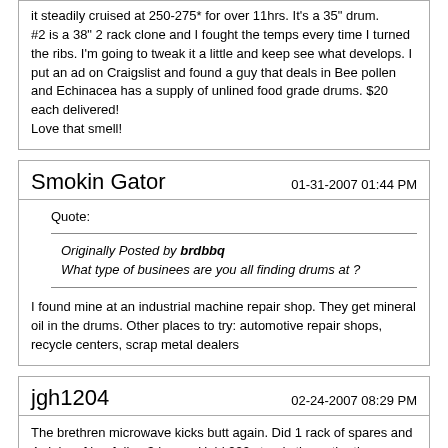it steadily cruised at 250-275* for over 11hrs. It's a 35" drum.
#2 is a 38" 2 rack clone and I fought the temps every time I turned the ribs. I'm going to tweak it a little and keep see what develops. I put an ad on Craigslist and found a guy that deals in Bee pollen and Echinacea has a supply of unlined food grade drums. $20 each delivered!
Love that smell!
Smokin Gator
01-31-2007 01:44 PM
Quote:
Originally Posted by brdbbq
What type of businees are you all finding drums at ?
I found mine at an industrial machine repair shop. They get mineral oil in the drums. Other places to try: automotive repair shops, recycle centers, scrap metal dealers
jgh1204
02-24-2007 08:29 PM
The brethren microwave kicks butt again. Did 1 rack of spares and 4 slabs of beef ribs. 3 hours. Held 220 steady the entire time.